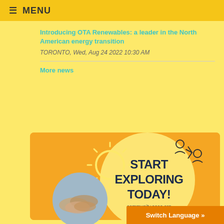≡ MENU
Introducing OTA Renewables: a leader in the North American energy transition
TORONTO, Wed, Aug 24 2022 10:30 AM
More news
[Figure (illustration): Promotional banner for ASES community with sun illustration, hands stacking together, bold text 'START EXPLORING TODAY!' and URL community.ases.org, with person exchange icons]
Switch Language »